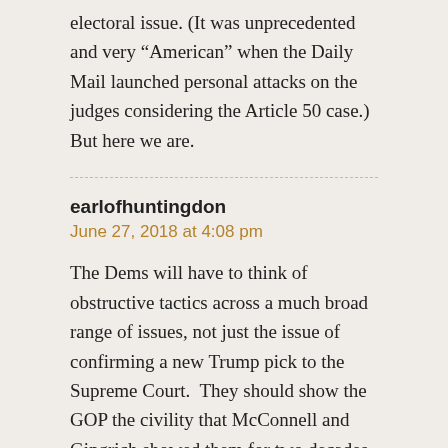electoral issue. (It was unprecedented and very “American” when the Daily Mail launched personal attacks on the judges considering the Article 50 case.) But here we are.
earlofhuntingdon
June 27, 2018 at 4:08 pm
The Dems will have to think of obstructive tactics across a much broad range of issues, not just the issue of confirming a new Trump pick to the Supreme Court.  They should show the GOP the civility that McConnell and Gingrich showed them for two decades.  If Nancy and Chuck aren’t up to it, they know where the door is.